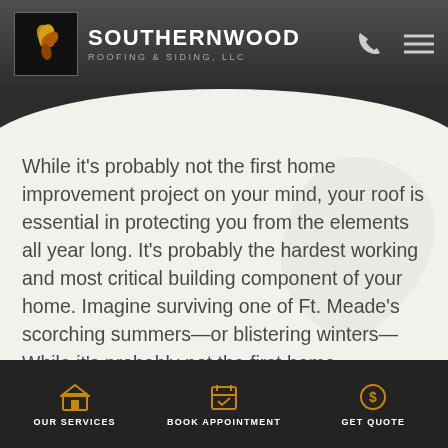SOUTHERNWOOD ROOFING & SIDING, LLC
While it's probably not the first home improvement project on your mind, your roof is essential in protecting you from the elements all year long. It's probably the hardest working and most critical building component of your home. Imagine surviving one of Ft. Meade's scorching summers—or blistering winters—While it's probably not the first home improvement project on your mind, your roof is essential in protecting you from the elements all year long. It's probably the hardest working and most critical building component of your home. Imagine surviving one of Ft. Meade's scorching summers—or blistering winters—
OUR SERVICES | BOOK APPOINTMENT | GET QUOTE